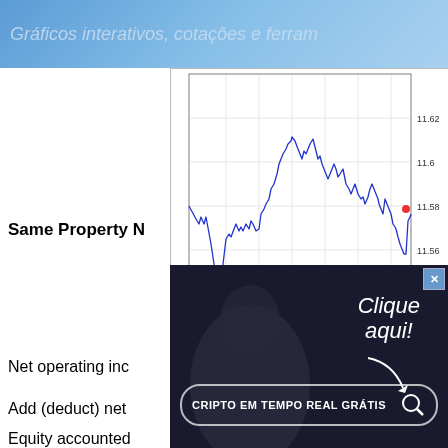Gráficos interativos, cotações e ferram
Same Property N
[Figure (continuous-plot): Intraday stock price line chart showing price range approximately 11.54 to 11.62, with x-axis labels 1130, 1230, 1330, 1430, 1530, 1630 and y-axis labels 11.54, 11.56, 11.58, 11.60, 11.62. Source: (c) www.advfn.com. A red dot marks a point near the end of the session around 11.58.]
[Figure (photo): Advertisement overlay showing a person in dark clothing with text 'Clique aqui!' in cursive white script with an arrow, and a button bar reading 'CRIPTO EM TEMPO REAL GRÁTIS' with a magnifying glass icon. Dark background with close button (X) in upper right.]
Net operating inc
Add (deduct) net
Equity accounted